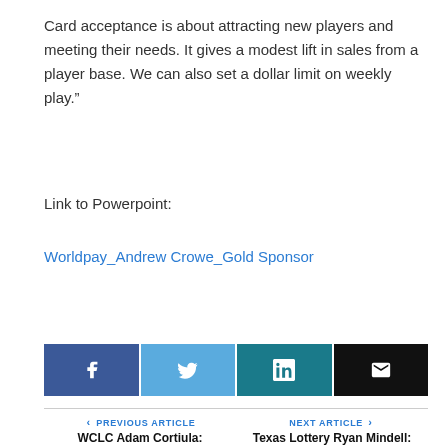Card acceptance is about attracting new players and meeting their needs. It gives a modest lift in sales from a player base. We can also set a dollar limit on weekly play.”
Link to Powerpoint:
Worldpay_Andrew Crowe_Gold Sponsor
[Figure (infographic): Social sharing buttons: Facebook (blue), Twitter (light blue), LinkedIn (teal/dark blue), Email (black), each with respective icons]
PREVIOUS ARTICLE   WCLC Adam Cortiula: SCRATCH ‘N WIN BRAND DEVELOPMENT
NEXT ARTICLE   Texas Lottery Ryan Mindell: Non-Licensed Scratch Family Promotions